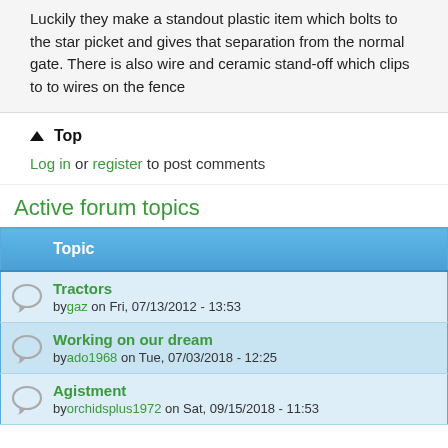Luckily they make a standout plastic item which bolts to the star picket and gives that separation from the normal gate. There is also wire and ceramic stand-off which clips to to wires on the fence
Top
Log in or register to post comments
Active forum topics
| Topic |
| --- |
| Tractors
by gaz on Fri, 07/13/2012 - 13:53 |
| Working on our dream
by ado1968 on Tue, 07/03/2018 - 12:25 |
| Agistment
by orchidsplus1972 on Sat, 09/15/2018 - 11:53 |